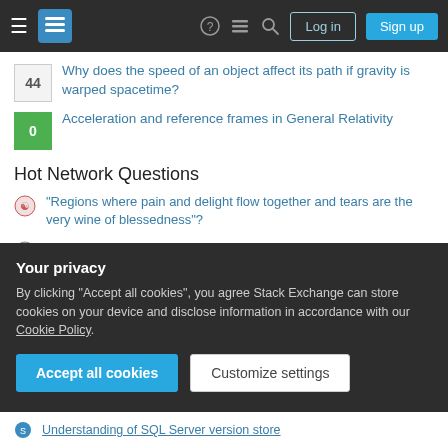Stack Exchange navigation bar with Log in and Sign up buttons
44 — Why does the speed of an object affect its path if gravity is warped spacetime?
0 — Acceleration and reference frames in General Relativity
Hot Network Questions
"Regions where pain and delight flow together and tears are the very wine of blessedness"?
Aiming to get electricity for my cabin via underground burial. Few questions
Grammar of "all's well that ends well"?
Is Elven immortality in Middle-earth tied to the Elven Rings of Power?
Your privacy
By clicking "Accept all cookies", you agree Stack Exchange can store cookies on your device and disclose information in accordance with our Cookie Policy.
Understanding of SQL Server version store